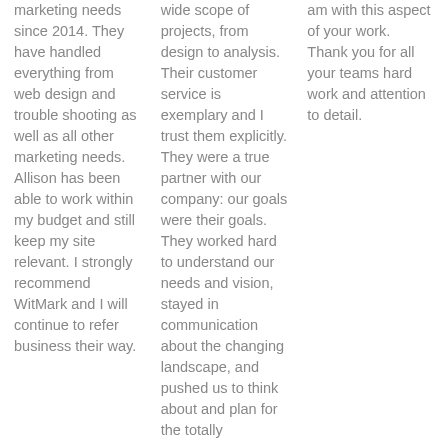marketing needs since 2014. They have handled everything from web design and trouble shooting as well as all other marketing needs. Allison has been able to work within my budget and still keep my site relevant. I strongly recommend WitMark and I will continue to refer business their way.
wide scope of projects, from design to analysis. Their customer service is exemplary and I trust them explicitly. They were a true partner with our company: our goals were their goals. They worked hard to understand our needs and vision, stayed in communication about the changing landscape, and pushed us to think about and plan for the totally
am with this aspect of your work.  Thank you for all your teams hard work and attention to detail.